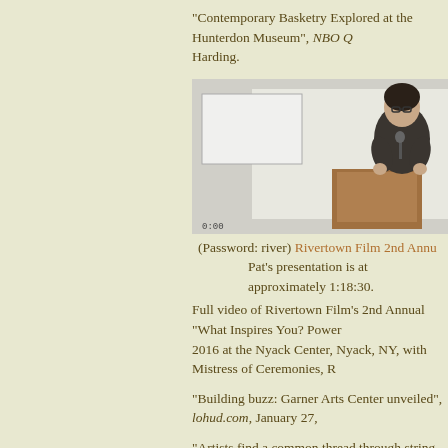"Contemporary Basketry Explored at the Hunterdon Museum", NBO Q... Harding.
[Figure (photo): A woman speaking at a podium with a microphone, wearing glasses and dark clothing, with a light background.]
(Password: river) Rivertown Film 2nd Annu...
Pat's presentation is at approximately 1:18:30.
Full video of Rivertown Film's 2nd Annual "What Inspires You? Power... 2016 at the Nyack Center, Nyack, NY, with Mistress of Ceremonies, R...
"Building buzz: Garner Arts Center unveiled", lohud.com, January 27,...
"Artists find a common thread through string in Society for Contempor... 2015, by Kurt Shaw.
Cover photo and article featuring the exhibition, "Encounter: Pat Hickm... Newsletter, Volume 27, Number 2, Fall, 2015.
"Pat Hickman: A world of visual communication", TextileArtist.org.
"Barbara Shapiro: Art that inspires", TextileArtist.org.
"Exhibit offers six artists who go to great lengths", The Chronicle Hera...
"Pat Hickman: A Stellar Life in Textiles", Textile Fibre Forum, Volume 3... DeBoer.
"Artist Profile: Pat Hickman", NBO Quarterly Review (National Basket... 2012.